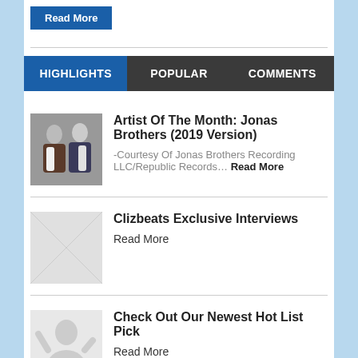Read More
HIGHLIGHTS | POPULAR | COMMENTS
Artist Of The Month: Jonas Brothers (2019 Version) -Courtesy Of Jonas Brothers Recording LLC/Republic Records… Read More
Clizbeats Exclusive Interviews Read More
Check Out Our Newest Hot List Pick Read More